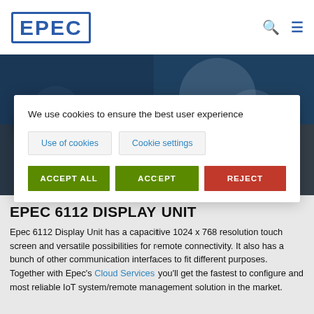EPEC
[Figure (screenshot): Hero background image with dark blue bokeh/blurred background]
EPEC 6112 DISPLAY UNIT
We use cookies to ensure the best user experience
Use of cookies   Cookie settings
ACCEPT ALL   ACCEPT   REJECT
EPEC 6112 DISPLAY UNIT
Epec 6112 Display Unit has a capacitive 1024 x 768 resolution touch screen and versatile possibilities for remote connectivity. It also has a bunch of other communication interfaces to fit different purposes. Together with Epec's Cloud Services you'll get the fastest to configure and most reliable IoT system/remote management solution in the market.